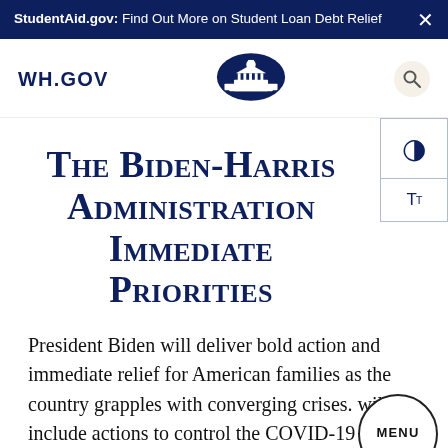StudentAid.gov: Find Out More on Student Loan Debt Relief
[Figure (logo): WH.GOV text logo on left, White House oval seal in center, search icon on right]
The Biden-Harris Administration Immediate Priorities
President Biden will deliver bold action and immediate relief for American families as the country grapples with converging crises. will include actions to control the COVID-19